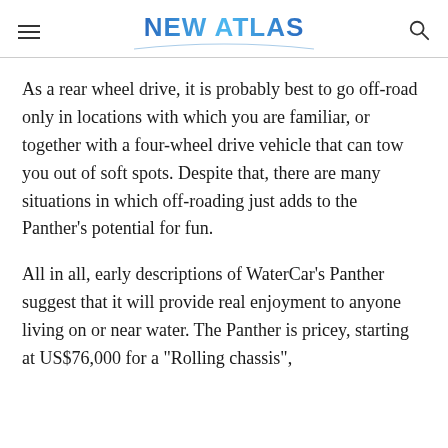NEW ATLAS
As a rear wheel drive, it is probably best to go off-road only in locations with which you are familiar, or together with a four-wheel drive vehicle that can tow you out of soft spots. Despite that, there are many situations in which off-roading just adds to the Panther's potential for fun.
All in all, early descriptions of WaterCar's Panther suggest that it will provide real enjoyment to anyone living on or near water. The Panther is pricey, starting at US$76,000 for a "Rolling chassis",